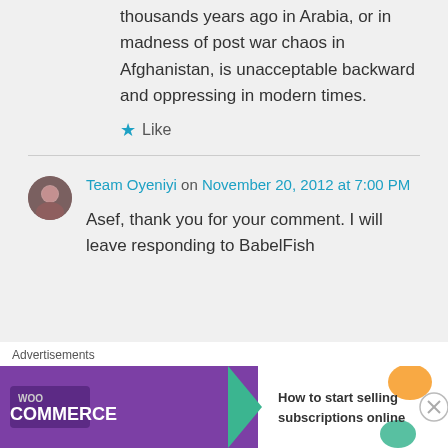thousands years ago in Arabia, or in madness of post war chaos in Afghanistan, is unacceptable backward and oppressing in modern times.
★ Like
Team Oyeniyi on November 20, 2012 at 7:00 PM
Asef, thank you for your comment. I will leave responding to BabelFish
Advertisements
[Figure (screenshot): WooCommerce advertisement banner: 'How to start selling subscriptions online']